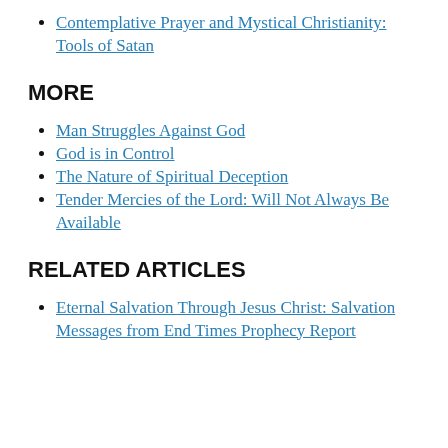Contemplative Prayer and Mystical Christianity: Tools of Satan
MORE
Man Struggles Against God
God is in Control
The Nature of Spiritual Deception
Tender Mercies of the Lord: Will Not Always Be Available
RELATED ARTICLES
Eternal Salvation Through Jesus Christ: Salvation Messages from End Times Prophecy Report